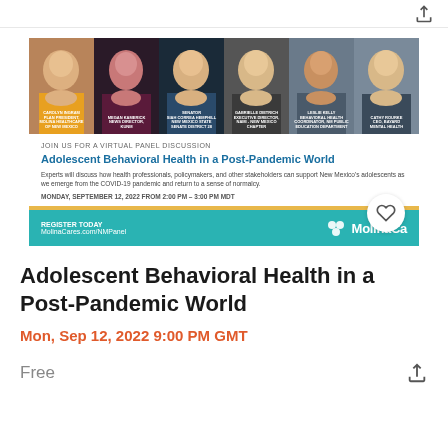[Figure (photo): Event banner showing six women panelists with their names and titles overlaid, below which is event info: 'Adolescent Behavioral Health in a Post-Pandemic World' panel discussion, Monday September 12 2022, 2pm-3pm MDT, register at MolinaCares.com/NMPanel, with Molina Cares logo on teal background]
Adolescent Behavioral Health in a Post-Pandemic World
Mon, Sep 12, 2022 9:00 PM GMT
Free